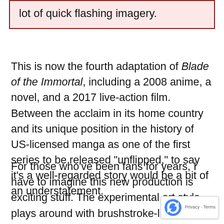lot of quick flashing imagery.
This is now the fourth adaptation of Blade of the Immortal, including a 2008 anime, a novel, and a 2017 live-action film. Between the acclaim in its home country and its unique position in the history of US-licensed manga as one of the first series to be released “unflipped,” to say it’s a well-regarded story would be a bit of an understatement.
For those who’ve been fans for years, I have to imagine this new production is exciting stuff. The experimental art style plays around with brushstroke-like lines, the backgrounds look like